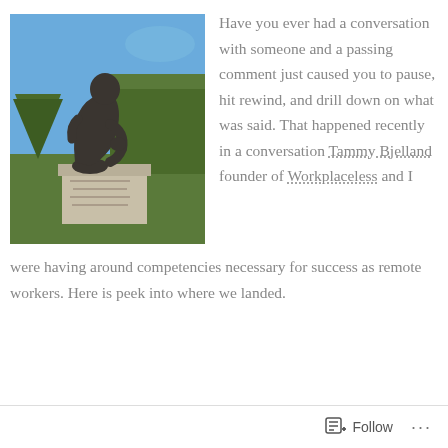[Figure (photo): Rodin's The Thinker bronze sculpture on a stone pedestal, surrounded by trimmed hedges and a blue sky background]
Have you ever had a conversation with someone and a passing comment just caused you to pause, hit rewind, and drill down on what was said. That happened recently in a conversation Tammy Bjelland founder of Workplaceless and I were having around competencies necessary for success as remote workers. Here is peek into where we landed.